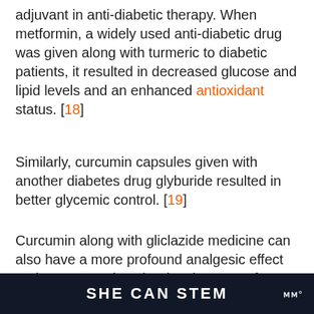adjuvant in anti-diabetic therapy. When metformin, a widely used anti-diabetic drug was given along with turmeric to diabetic patients, it resulted in decreased glucose and lipid levels and an enhanced antioxidant status. [18]
Similarly, curcumin capsules given with another diabetes drug glyburide resulted in better glycemic control. [19]
Curcumin along with gliclazide medicine can also have a more profound analgesic effect and protect against the development of diabetic neuropathy. [20]
SHE CAN STEM